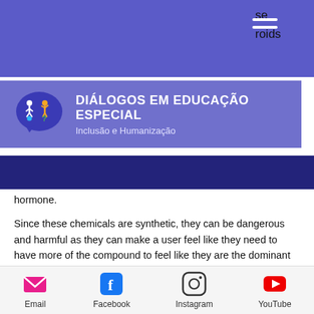[Figure (screenshot): Website header with purple navigation bar containing hamburger menu icon and partially visible text 'se', 'roids' on the right side]
[Figure (logo): Dialógos em Educação Especial logo with speech bubble containing accessibility icons, title 'DIÁLOGOS EM EDUCAÇÃO ESPECIAL' and subtitle 'Inclusão e Humanização']
hormone.
Since these chemicals are synthetic, they can be dangerous and harmful as they can make a user feel like they need to have more of the compound to feel like they are the dominant one, and as a result, those who are high on drugs usually become less likely to take their prescribed drug and the problem gets worse, are anabolic steroids safe in small
Email  Facebook  Instagram  YouTube